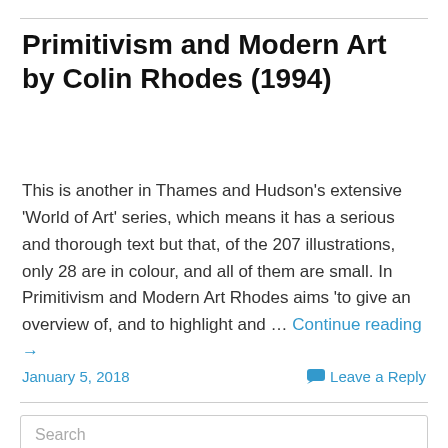Primitivism and Modern Art by Colin Rhodes (1994)
This is another in Thames and Hudson's extensive 'World of Art' series, which means it has a serious and thorough text but that, of the 207 illustrations, only 28 are in colour, and all of them are small. In Primitivism and Modern Art Rhodes aims 'to give an overview of, and to highlight and … Continue reading →
January 5, 2018
Leave a Reply
Search